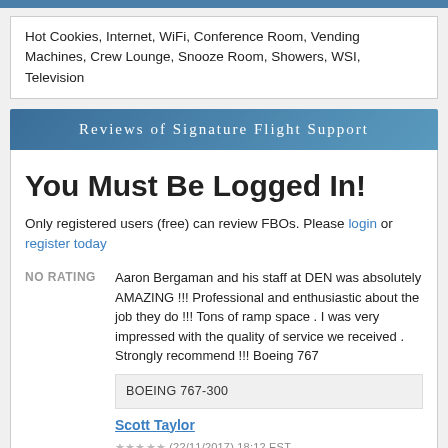Hot Cookies, Internet, WiFi, Conference Room, Vending Machines, Crew Lounge, Snooze Room, Showers, WSI, Television
Reviews of Signature Flight Support
You Must Be Logged In!
Only registered users (free) can review FBOs. Please login or register today
NO RATING
Aaron Bergaman and his staff at DEN was absolutely AMAZING !!! Professional and enthusiastic about the job they do !!! Tons of ramp space . I was very impressed with the quality of service we received . Strongly recommend !!! Boeing 767
BOEING 767-300
Scott Taylor
(22/11/2017) 18:12 EST
NO RATING